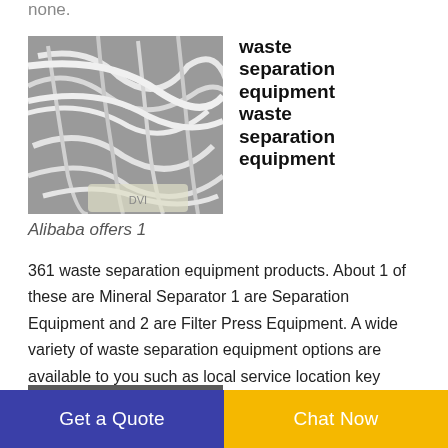none.
[Figure (photo): Close-up photograph of tangled white and gray wires/cables.]
waste separation equipment waste separation equipment
Alibaba offers 1 361 waste separation equipment products. About 1 of these are Mineral Separator 1 are Separation Equipment and 2 are Filter Press Equipment. A wide variety of waste separation equipment options are available to you such as local service location key selling points and applicable industries.
[Figure (photo): Partial view of a second product image at the bottom of the page.]
Buil...
Get a Quote
Chat Now